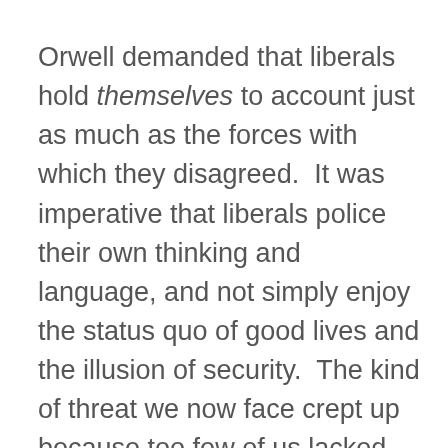Orwell demanded that liberals hold themselves to account just as much as the forces with which they disagreed.  It was imperative that liberals police their own thinking and language, and not simply enjoy the status quo of good lives and the illusion of security.  The kind of threat we now face crept up because too few of us lacked vigilance.  Liberalism requires constant challenge from within, so that it can be strong and ready for challenges from without.